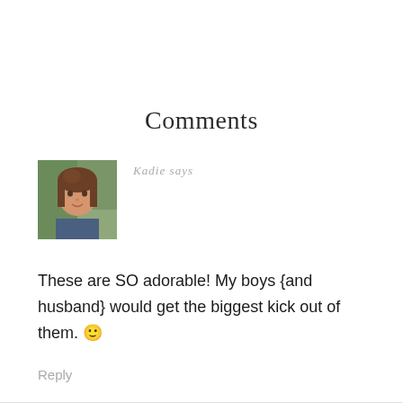Comments
[Figure (photo): Profile photo of Kadie, a woman with brown hair]
Kadie says
These are SO adorable! My boys {and husband} would get the biggest kick out of them. 🙂
Reply